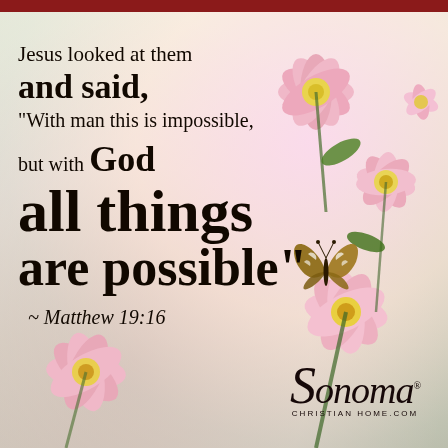[Figure (illustration): Inspirational Bible verse graphic with pink flowers and a butterfly on a soft bokeh background. Dark red top bar at the very top. Text overlay with a Scripture verse from Matthew 19:16 and a Sonoma Christian Home logo in the lower right.]
Jesus looked at them and said, "With man this is impossible, but with God all things are possible" ~ Matthew 19:16
Sonoma CHRISTIAN HOME.COM